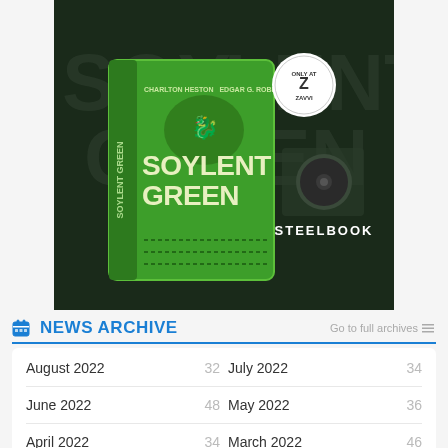[Figure (photo): Soylent Green steelbook Blu-ray product image on dark green background with 'ONLY AT ZAVVI' badge and STEELBOOK logo]
NEWS ARCHIVE
Go to full archives
| August 2022 | 32 | July 2022 | 34 |
| June 2022 | 48 | May 2022 | 36 |
| April 2022 | 34 | March 2022 | 46 |